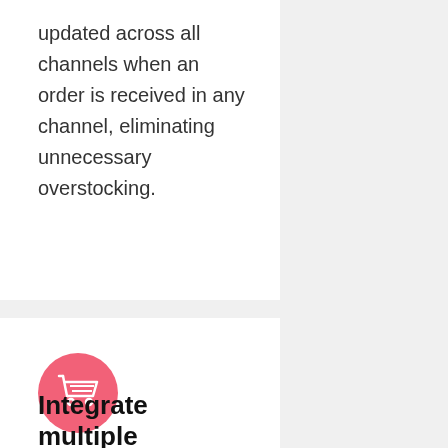updated across all channels when an order is received in any channel, eliminating unnecessary overstocking.
[Figure (illustration): Pink circular icon containing a white shopping cart symbol]
Integrate multiple channels